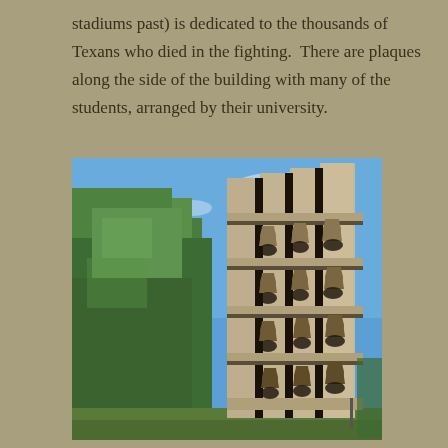stadiums past) is dedicated to the thousands of Texans who died in the fighting.  There are plaques along the side of the building with many of the students, arranged by their university.
[Figure (photo): Photograph of a large brutalist concrete bell tower structure with multiple granite pillars and bells visible between them, set against a blue sky with green trees on the left side.]